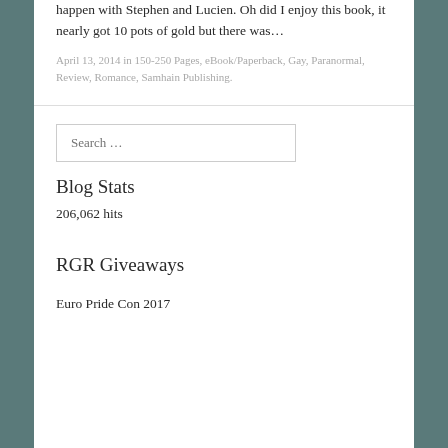happen with Stephen and Lucien. Oh did I enjoy this book, it nearly got 10 pots of gold but there was…
April 13, 2014 in 150-250 Pages, eBook/Paperback, Gay, Paranormal, Review, Romance, Samhain Publishing.
Search …
Blog Stats
206,062 hits
RGR Giveaways
Euro Pride Con 2017